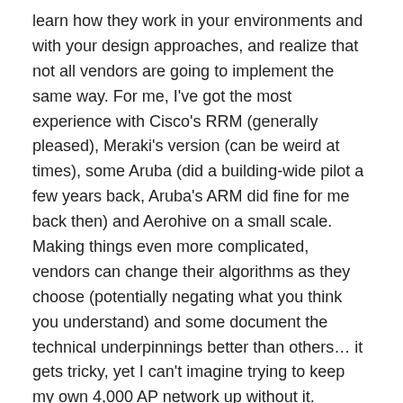learn how they work in your environments and with your design approaches, and realize that not all vendors are going to implement the same way. For me, I've got the most experience with Cisco's RRM (generally pleased), Meraki's version (can be weird at times), some Aruba (did a building-wide pilot a few years back, Aruba's ARM did fine for me back then) and Aerohive on a small scale. Making things even more complicated, vendors can change their algorithms as they choose (potentially negating what you think you understand) and some document the technical underpinnings better than others… it gets tricky, yet I can't imagine trying to keep my own 4,000 AP network up without it.
Here are some vendor links relating to auto RF functions (No slight intended to anyone I left out, this is just a sampling), and I have no clue whether there are newer